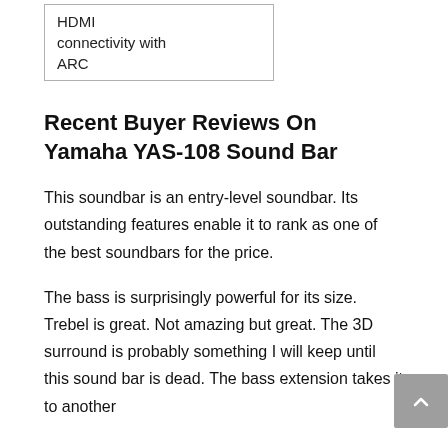| HDMI connectivity with ARC |
Recent Buyer Reviews On Yamaha YAS-108 Sound Bar
This soundbar is an entry-level soundbar. Its outstanding features enable it to rank as one of the best soundbars for the price.
The bass is surprisingly powerful for its size. Trebel is great. Not amazing but great. The 3D surround is probably something I will keep until this sound bar is dead. The bass extension takes it to another